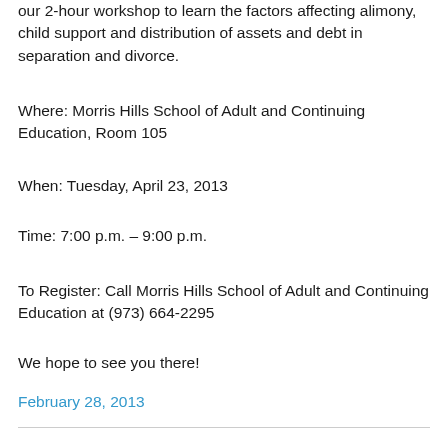our 2-hour workshop to learn the factors affecting alimony, child support and distribution of assets and debt in separation and divorce.
Where: Morris Hills School of Adult and Continuing Education, Room 105
When: Tuesday, April 23, 2013
Time: 7:00 p.m. – 9:00 p.m.
To Register: Call Morris Hills School of Adult and Continuing Education at (973) 664-2295
We hope to see you there!
February 28, 2013